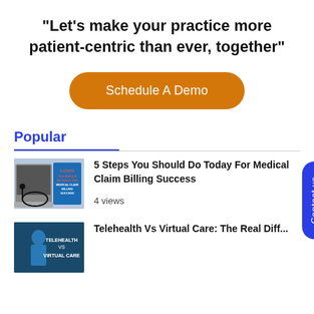“Let’s make your practice more patient-centric than ever, together”
Schedule A Demo
Popular
5 Steps You Should Do Today For Medical Claim Billing Success
4 views
Telehealth Vs Virtual Care: The Real Diff...